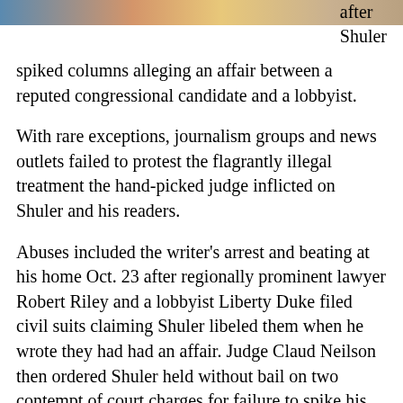[Figure (photo): Partial image strip at top of page showing people, cropped]
after Shuler spiked columns alleging an affair between a reputed congressional candidate and a lobbyist.
With rare exceptions, journalism groups and news outlets failed to protest the flagrantly illegal treatment the hand-picked judge inflicted on Shuler and his readers.
Abuses included the writer's arrest and beating at his home Oct. 23 after regionally prominent lawyer Robert Riley and a lobbyist Liberty Duke filed civil suits claiming Shuler libeled them when he wrote they had had an affair. Judge Claud Neilson then ordered Shuler held without bail on two contempt of court charges for failure to spike his columns. The defendant is shown below in his mug shot.
The case undermined multiple legal precedents protecting freedom of the press and due process.
For example, the judge ordered the docket and courtroom sealed for the first months of the case, including the major hearing. The defendant, who had no lawyer, was kept shackled at wrists and ankles during a secret proceeding in